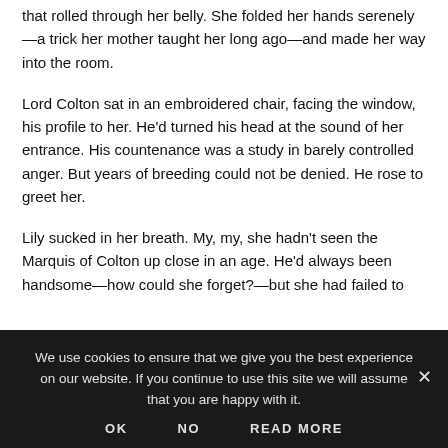that rolled through her belly. She folded her hands serenely—a trick her mother taught her long ago—and made her way into the room.
Lord Colton sat in an embroidered chair, facing the window, his profile to her. He'd turned his head at the sound of her entrance. His countenance was a study in barely controlled anger. But years of breeding could not be denied. He rose to greet her.
Lily sucked in her breath. My, my, she hadn't seen the Marquis of Colton up close in an age. He'd always been handsome—how could she forget?—but she had failed to
We use cookies to ensure that we give you the best experience on our website. If you continue to use this site we will assume that you are happy with it.
OK   NO   READ MORE